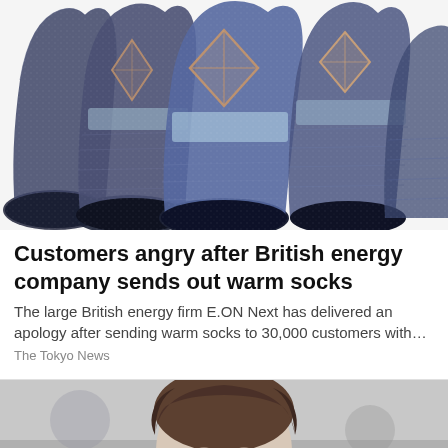[Figure (photo): Photo of multiple blue/navy knitted wool socks with argyle/diamond pattern accents in tan and light blue, fanned out against white background]
Customers angry after British energy company sends out warm socks
The large British energy firm E.ON Next has delivered an apology after sending warm socks to 30,000 customers with…
The Tokyo News
[Figure (photo): Partial photo of a young man with brown hair against blurred background, cut off at bottom of page]